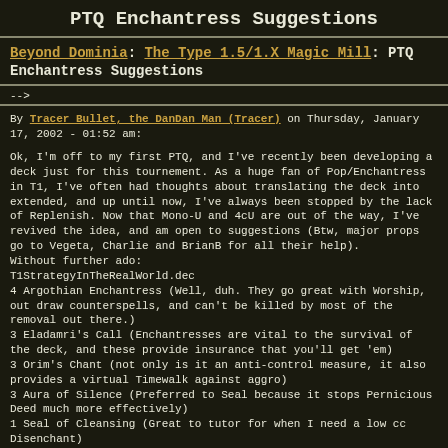PTQ Enchantress Suggestions
Beyond Dominia: The Type 1.5/1.X Magic Mill: PTQ Enchantress Suggestions
-->
By Tracer Bullet, the DanDan Man (Tracer) on Thursday, January 17, 2002 - 01:52 am:
Ok, I'm off to my first PTQ, and I've recently been developing a deck just for this tournement. As a huge fan of Pop/Enchantress in T1, I've often had thoughts about translating the deck into extended, and up until now, I've always been stopped by the lack of Replenish. Now that Mono-U and 4cU are out of the way, I've revived the idea, and am open to suggestions (Btw, major props go to Vegeta, Charlie and BrianB for all their help).
Without further ado:
T1StrategyInTheRealWorld.dec
4 Argothian Enchantress (Well, duh. They go great with Worship, out draw counterspells, and can't be killed by most of the removal out there.)
3 Eladamri's Call (Enchantresses are vital to the survival of the deck, and these provide insurance that you'll get 'em)
3 Orim's Chant (not only is it an anti-control measure, it also provides a virtual Timewalk against aggro)
3 Aura of Silence (Preferred to Seal because it stops Pernicious Deed much more effectively)
1 Seal of Cleansing (Great to tutor for when I need a low cc Disenchant)
4 Sterling Grove (Redundancy, and Provides amazing ability t...